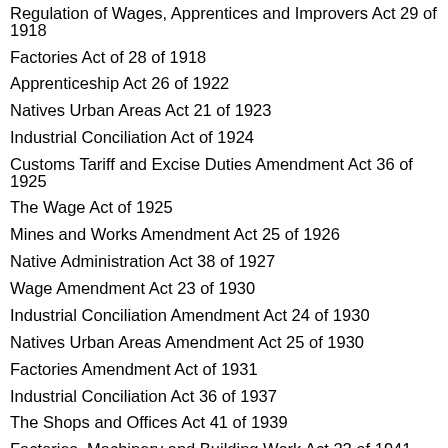Regulation of Wages, Apprentices and Improvers Act 29 of 1918
Factories Act of 28 of 1918
Apprenticeship Act 26 of 1922
Natives Urban Areas Act 21 of 1923
Industrial Conciliation Act of 1924
Customs Tariff and Excise Duties Amendment Act 36 of 1925
The Wage Act of 1925
Mines and Works Amendment Act 25 of 1926
Native Administration Act 38 of 1927
Wage Amendment Act 23 of 1930
Industrial Conciliation Amendment Act 24 of 1930
Natives Urban Areas Amendment Act 25 of 1930
Factories Amendment Act of 1931
Industrial Conciliation Act 36 of 1937
The Shops and Offices Act 41 of 1939
Factories, Machinery and Building Work Act 22 of 1941